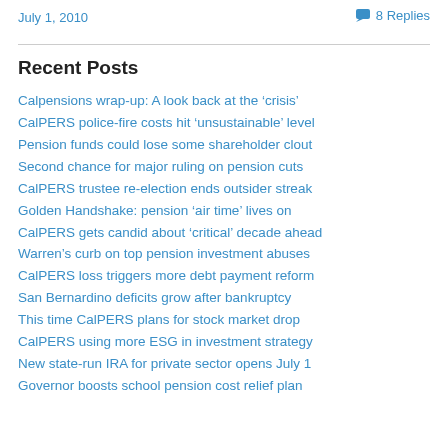July 1, 2010
8 Replies
Recent Posts
Calpensions wrap-up: A look back at the ‘crisis’
CalPERS police-fire costs hit ‘unsustainable’ level
Pension funds could lose some shareholder clout
Second chance for major ruling on pension cuts
CalPERS trustee re-election ends outsider streak
Golden Handshake: pension ‘air time’ lives on
CalPERS gets candid about ‘critical’ decade ahead
Warren’s curb on top pension investment abuses
CalPERS loss triggers more debt payment reform
San Bernardino deficits grow after bankruptcy
This time CalPERS plans for stock market drop
CalPERS using more ESG in investment strategy
New state-run IRA for private sector opens July 1
Governor boosts school pension cost relief plan